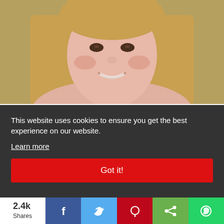[Figure (photo): Close-up photo of a smiling young woman with long straight light brown hair against a golden/tan background]
This website uses cookies to ensure you get the best experience on our website.
Learn more
Got it!
2.4k Shares